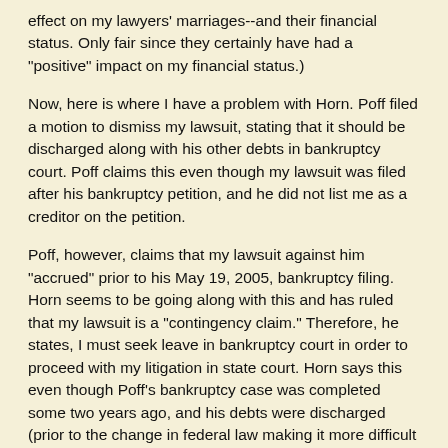effect on my lawyers' marriages--and their financial status. Only fair since they certainly have had a "positive" impact on my financial status.)
Now, here is where I have a problem with Horn. Poff filed a motion to dismiss my lawsuit, stating that it should be discharged along with his other debts in bankruptcy court. Poff claims this even though my lawsuit was filed after his bankruptcy petition, and he did not list me as a creditor on the petition.
Poff, however, claims that my lawsuit against him "accrued" prior to his May 19, 2005, bankruptcy filing. Horn seems to be going along with this and has ruled that my lawsuit is a "contingency claim." Therefore, he states, I must seek leave in bankruptcy court in order to proceed with my litigation in state court. Horn says this even though Poff's bankruptcy case was completed some two years ago, and his debts were discharged (prior to the change in federal law making it more difficult to file for bankruptcy; pretty slick on Poff's part.)